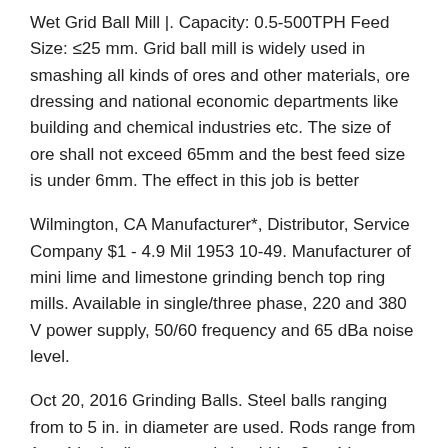Wet Grid Ball Mill |. Capacity: 0.5-500TPH Feed Size: ≤25 mm. Grid ball mill is widely used in smashing all kinds of ores and other materials, ore dressing and national economic departments like building and chemical industries etc. The size of ore shall not exceed 65mm and the best feed size is under 6mm. The effect in this job is better
Wilmington, CA Manufacturer*, Distributor, Service Company $1 - 4.9 Mil 1953 10-49. Manufacturer of mini lime and limestone grinding bench top ring mills. Available in single/three phase, 220 and 380 V power supply, 50/60 frequency and 65 dBa noise level.
Oct 20, 2016 Grinding Balls. Steel balls ranging from to 5 in. in diameter are used. Rods range from 1 to 4 in. in diameter and should be 3 to 4 in. shorter than the inside mill length. Tube mills are usually fed balls smaller than 2